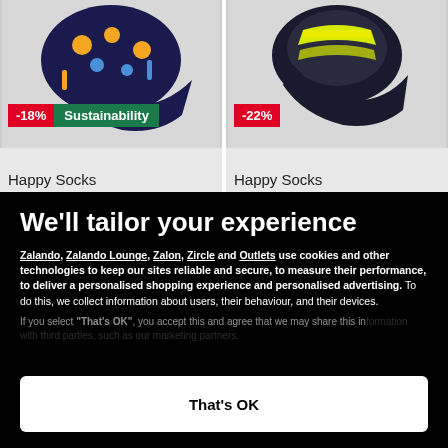[Figure (photo): Happy Socks product image with -18% discount badge and Sustainability label]
[Figure (photo): Happy Socks product image with -22% discount badge]
Happy Socks
Happy Socks
We'll tailor your experience
Zalando, Zalando Lounge, Zalon, Zircle and Outlets use cookies and other technologies to keep our sites reliable and secure, to measure their performance, to deliver a personalised shopping experience and personalised advertising. To do this, we collect information about users, their behaviour, and their devices.
If you select "That's OK", you accept this and agree that we may share this information with third parties, such as our marketing partners.
Only essential
Set preferences
That's OK